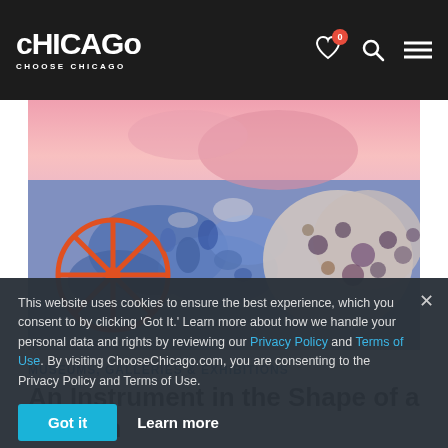cHICAGo CHOOSE CHICAGO
[Figure (photo): Colorful abstract painting with orange wheel/spoke shape on left, blue and pink abstract forms throughout, with spotted/dotted patterns on right]
MUSEUMS, GALLERIES & EXHIBITIONS
An Instrument in the Shape of a Woman
This website uses cookies to ensure the best experience, which you consent to by clicking 'Got It.' Learn more about how we handle your personal data and rights by reviewing our Privacy Policy and Terms of Use. By visiting ChooseChicago.com, you are consenting to the Privacy Policy and Terms of Use.
Got it   Learn more